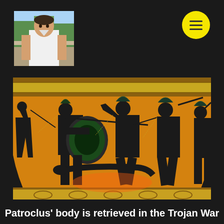[Figure (photo): Profile photo of a person wearing a white shirt, outdoors with trees and a railing visible in the background.]
[Figure (photo): Ancient Greek black-figure pottery depicting warriors fighting over the body of Patroclus in the Trojan War. The scene shows armored soldiers with shields, helmets, and spears on a vivid orange background. A golden decorative border runs along the top rim of the vessel.]
Patroclus' body is retrieved in the Trojan War